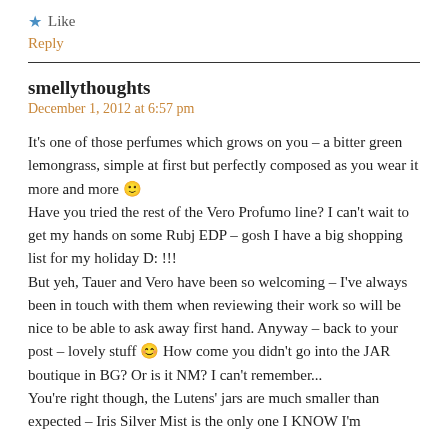★ Like
Reply
smellythoughts
December 1, 2012 at 6:57 pm
It's one of those perfumes which grows on you – a bitter green lemongrass, simple at first but perfectly composed as you wear it more and more 🙂 Have you tried the rest of the Vero Profumo line? I can't wait to get my hands on some Rubj EDP – gosh I have a big shopping list for my holiday D: !!! But yeh, Tauer and Vero have been so welcoming – I've always been in touch with them when reviewing their work so will be nice to be able to ask away first hand. Anyway – back to your post – lovely stuff 😊 How come you didn't go into the JAR boutique in BG? Or is it NM? I can't remember... You're right though, the Lutens' jars are much smaller than expected – Iris Silver Mist is the only one I KNOW I'm